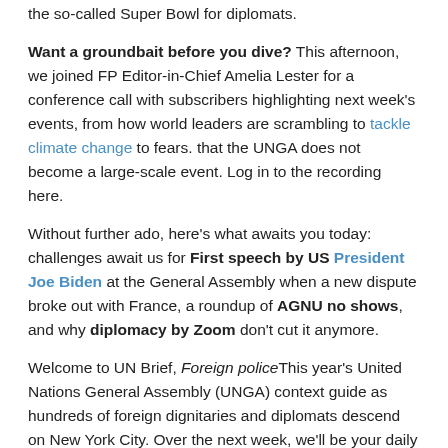the so-called Super Bowl for diplomats.
Want a groundbait before you dive? This afternoon, we joined FP Editor-in-Chief Amelia Lester for a conference call with subscribers highlighting next week's events, from how world leaders are scrambling to tackle climate change to fears. that the UNGA does not become a large-scale event. Log in to the recording here.
Without further ado, here's what awaits you today: challenges await us for First speech by US President Joe Biden at the General Assembly when a new dispute broke out with France, a roundup of AGNU no shows, and why diplomacy by Zoom don't cut it anymore.
Welcome to UN Brief, Foreign policeThis year's United Nations General Assembly (UNGA) context guide as hundreds of foreign dignitaries and diplomats descend on New York City. Over the next week, we'll be your daily guides for everything behind the scenes of the so-called Super Bowl for diplomats.
Want a groundbait before you dive? This afternoon, we joined FP Editor-in-Chief Amelia Lester for a conference call with subscribers